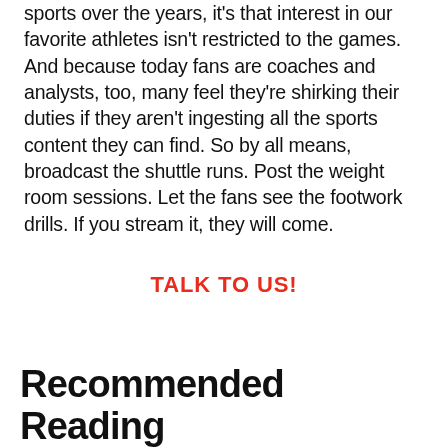sports over the years, it's that interest in our favorite athletes isn't restricted to the games. And because today fans are coaches and analysts, too, many feel they're shirking their duties if they aren't ingesting all the sports content they can find. So by all means, broadcast the shuttle runs. Post the weight room sessions. Let the fans see the footwork drills. If you stream it, they will come.
TALK TO US!
Recommended Reading